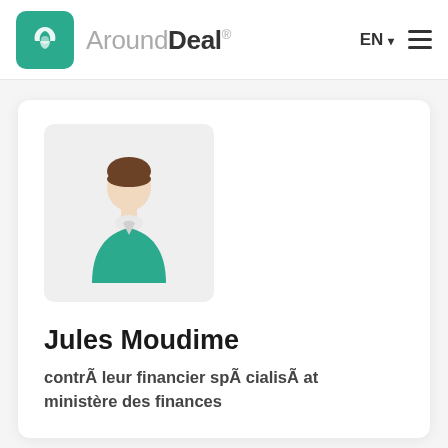AroundDeal® EN ≡
[Figure (illustration): Generic user avatar icon: person silhouette with brown hair, teal/green shirt, light skin, on a light grey rounded rectangle background]
Jules Moudime
contrÃ leur financier spÃ cialisÃ at ministère des finances